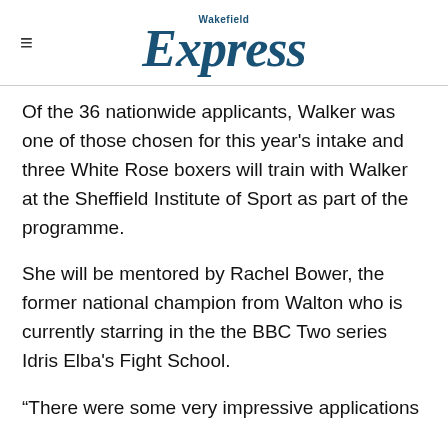Wakefield Express
Of the 36 nationwide applicants, Walker was one of those chosen for this year's intake and three White Rose boxers will train with Walker at the Sheffield Institute of Sport as part of the programme.
She will be mentored by Rachel Bower, the former national champion from Walton who is currently starring in the the BBC Two series Idris Elba's Fight School.
“There were some very impressive applications